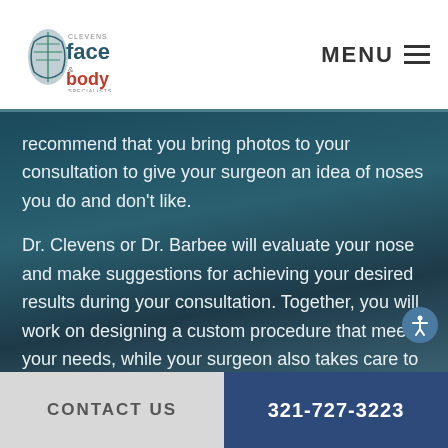Clevens Face and Body Specialists — MENU
recommend that you bring photos to your consultation to give your surgeon an idea of noses you do and don't like.
Dr. Clevens or Dr. Barbee will evaluate your nose and make suggestions for achieving your desired results during your consultation. Together, you will work on designing a custom procedure that meets your needs, while your surgeon also takes care to answer all of your concerns so you feel comfortable and know what to expect.
Consultations are also an ideal opportunity to discuss other
CONTACT US | 321-727-3223